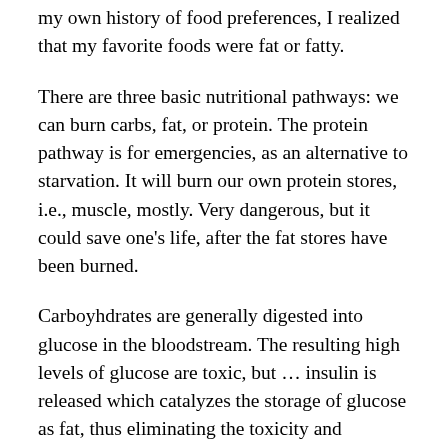my own history of food preferences, I realized that my favorite foods were fat or fatty.
There are three basic nutritional pathways: we can burn carbs, fat, or protein. The protein pathway is for emergencies, as an alternative to starvation. It will burn our own protein stores, i.e., muscle, mostly. Very dangerous, but it could save one's life, after the fat stores have been burned.
Carboyhdrates are generally digested into glucose in the bloodstream. The resulting high levels of glucose are toxic, but … insulin is released which catalyzes the storage of glucose as fat, thus eliminating the toxicity and